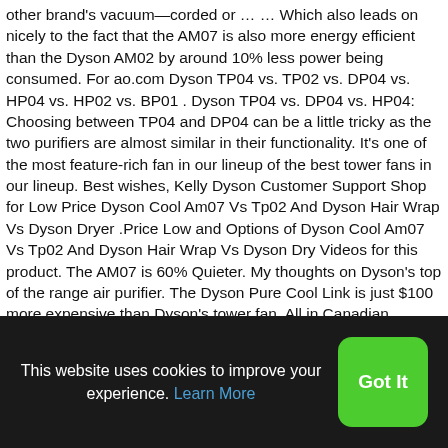other brand's vacuum—corded or … … Which also leads on nicely to the fact that the AM07 is also more energy efficient than the Dyson AM02 by around 10% less power being consumed. For ao.com Dyson TP04 vs. TP02 vs. DP04 vs. HP04 vs. HP02 vs. BP01 . Dyson TP04 vs. DP04 vs. HP04: Choosing between TP04 and DP04 can be a little tricky as the two purifiers are almost similar in their functionality. It's one of the most feature-rich fan in our lineup of the best tower fans in our lineup. Best wishes, Kelly Dyson Customer Support Shop for Low Price Dyson Cool Am07 Vs Tp02 And Dyson Hair Wrap Vs Dyson Dryer .Price Low and Options of Dyson Cool Am07 Vs Tp02 And Dyson Hair Wrap Vs Dyson Dry Videos for this product. The AM07 is 60% Quieter. My thoughts on Dyson's top of the range air purifier. The Dyson Pure Cool Link is just $100 more expensive than Dyson's tower fan. All in Canadian dollars... Deals only available on Black Friday on
This website uses cookies to improve your experience. Learn More
Got It